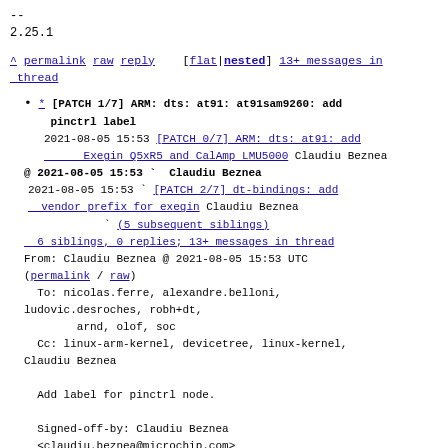--
2.25.1
^ permalink raw reply  [flat|nested] 13+ messages in thread
* [PATCH 1/7] ARM: dts: at91: at91sam9260: add pinctrl label
2021-08-05 15:53 [PATCH 0/7] ARM: dts: at91: add Exegin Q5xR5 and CalAmp LMU5000 Claudiu Beznea
@ 2021-08-05 15:53 ` Claudiu Beznea
2021-08-05 15:53 ` [PATCH 2/7] dt-bindings: add vendor prefix for exegin Claudiu Beznea
` (5 subsequent siblings)
6 siblings, 0 replies; 13+ messages in thread
From: Claudiu Beznea @ 2021-08-05 15:53 UTC
(permalink / raw)
To: nicolas.ferre, alexandre.belloni, ludovic.desroches, robh+dt, arnd, olof, soc
Cc: linux-arm-kernel, devicetree, linux-kernel, Claudiu Beznea

Add label for pinctrl node.

Signed-off-by: Claudiu Beznea
<claudiu.beznea@microchip.com>
---
arch/arm/boot/dts/at91sam9260.dtsi | 2 +-
1 file changed, 1 insertion(+), 1 deletion(-)